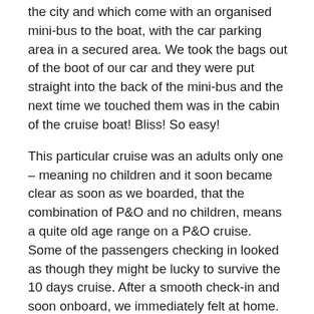the city and which come with an organised mini-bus to the boat, with the car parking area in a secured area. We took the bags out of the boot of our car and they were put straight into the back of the mini-bus and the next time we touched them was in the cabin of the cruise boat! Bliss! So easy!
This particular cruise was an adults only one – meaning no children and it soon became clear as soon as we boarded, that the combination of P&O and no children, means a quite old age range on a P&O cruise. Some of the passengers checking in looked as though they might be lucky to survive the 10 days cruise. After a smooth check-in and soon onboard, we immediately felt at home. For British travelers having a kettle and tea-bags in the cabin, decent and proper tea bags in the buffet areas, for a nice cuppa, are essential basics, along with a decent pub